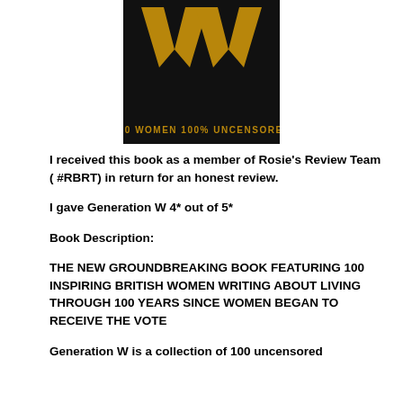[Figure (illustration): Book cover of 'Generation W' with a black background, a large gold W shape at top, and gold text '100 WOMEN 100% UNCENSORED' at the bottom]
I received this book as a member of Rosie's Review Team ( #RBRT) in return for an honest review.
I gave Generation W 4* out of 5*
Book Description:
THE NEW GROUNDBREAKING BOOK FEATURING 100 INSPIRING BRITISH WOMEN WRITING ABOUT LIVING THROUGH 100 YEARS SINCE WOMEN BEGAN TO RECEIVE THE VOTE
Generation W is a collection of 100 uncensored